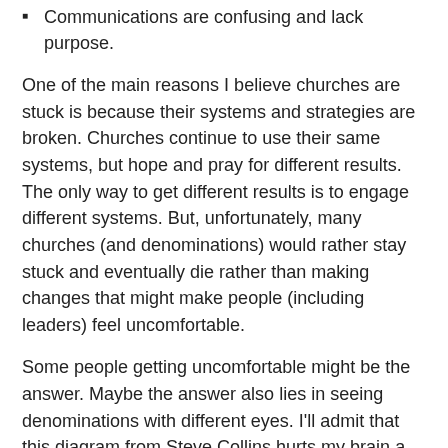Communications are confusing and lack purpose.
One of the main reasons I believe churches are stuck is because their systems and strategies are broken. Churches continue to use their same systems, but hope and pray for different results. The only way to get different results is to engage different systems. But, unfortunately, many churches (and denominations) would rather stay stuck and eventually die rather than making changes that might make people (including leaders) feel uncomfortable.
Some people getting uncomfortable might be the answer. Maybe the answer also lies in seeing denominations with different eyes. I’ll admit that this diagram from Steve Collins hurts my brain a little bit. It’s called “Scalability: What are denominations in emergence?”